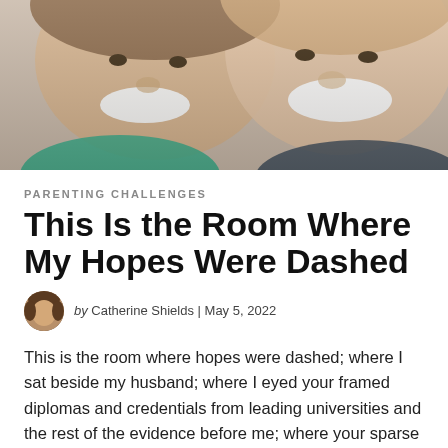[Figure (photo): Two people (faces close together) laughing/smiling at the camera, photo cropped showing tops of heads and faces, wearing teal and dark patterned clothing.]
PARENTING CHALLENGES
This Is the Room Where My Hopes Were Dashed
by Catherine Shields | May 5, 2022
This is the room where hopes were dashed; where I sat beside my husband; where I eyed your framed diplomas and credentials from leading universities and the rest of the evidence before me; where your sparse furnishings were carefully arranged, and bright spotlights heated my skin; where I eyed my daughter along...